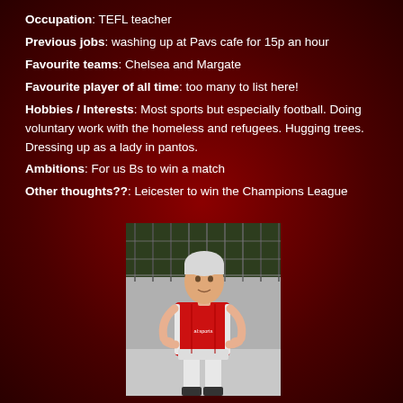Occupation: TEFL teacher
Previous jobs: washing up at Pavs cafe for 15p an hour
Favourite teams: Chelsea and Margate
Favourite player of all time: too many to list here!
Hobbies / Interests: Most sports but especially football. Doing voluntary work with the homeless and refugees. Hugging trees. Dressing up as a lady in pantos.
Ambitions: For us Bs to win a match
Other thoughts??: Leicester to win the Champions League
[Figure (photo): A man in a red football kit with white shorts standing on what appears to be a sports court or pitch, with a fence or wall in the background. He has white/grey hair and his hands are on his hips.]